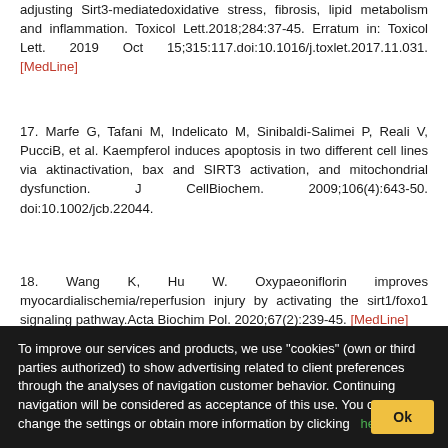adjusting Sirt3-mediatedoxidative stress, fibrosis, lipid metabolism and inflammation. Toxicol Lett.2018;284:37-45. Erratum in: Toxicol Lett. 2019 Oct 15;315:117.doi:10.1016/j.toxlet.2017.11.031. [MedLine]
17. Marfe G, Tafani M, Indelicato M, Sinibaldi-Salimei P, Reali V, PucciB, et al. Kaempferol induces apoptosis in two different cell lines via aktinactivation, bax and SIRT3 activation, and mitochondrial dysfunction. J CellBiochem. 2009;106(4):643-50. doi:10.1002/jcb.22044.
18. Wang K, Hu W. Oxypaeoniflorin improves myocardialischemia/reperfusion injury by activating the sirt1/foxo1 signaling pathway.Acta Biochim Pol. 2020;67(2):239-45. [MedLine]
To improve our services and products, we use "cookies" (own or third parties authorized) to show advertising related to client preferences through the analyses of navigation customer behavior. Continuing navigation will be considered as acceptance of this use. You can change the settings or obtain more information by clicking here